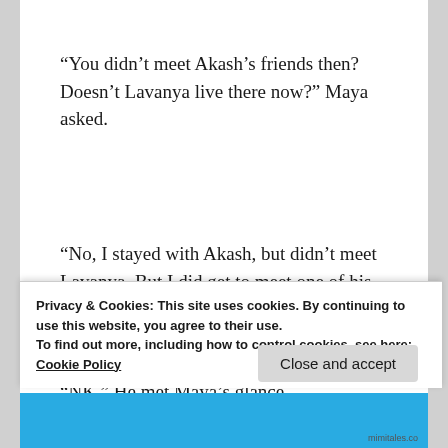“You didn’t meet Akash’s friends then? Doesn’t Lavanya live there now?” Maya asked.
“No, I stayed with Akash, but didn’t meet Lavanya. But I did get to meet one of his other friends. Actually the wife of one of his friends.” Arnav leaned forward and clasped his palms together. He sighed and said, “NK.” He met Maya’s glance
Privacy & Cookies: This site uses cookies. By continuing to use this website, you agree to their use.
To find out more, including how to control cookies, see here: Cookie Policy
Close and accept